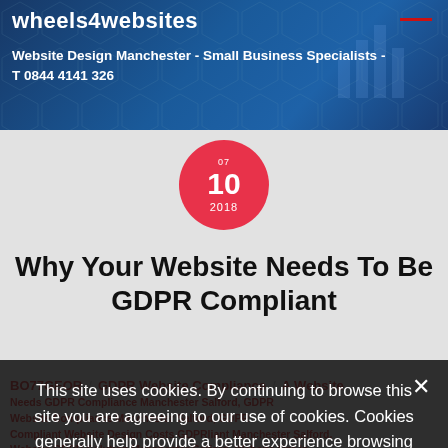Wheels4Websites
Website Design Manchester - Small Business Specialists - T 0844 4141 326
[Figure (other): Date badge: red circle with 07 / 10 / 2018]
Why Your Website Needs To Be GDPR Compliant
BO77GEOR / GDPR Website Compliance / A Website Needs GDPR Compliance Manchester Salford, GDPR Website Compliance Manchester Salford, GDPR Compliant Website Design Costs GDPR Compliant Manchester Salford, Website GDPR Solution Manchester Salford, Website Opt-In
This site uses cookies. By continuing to browse this site you are agreeing to our use of cookies. Cookies generally help provide a better experience browsing our site.